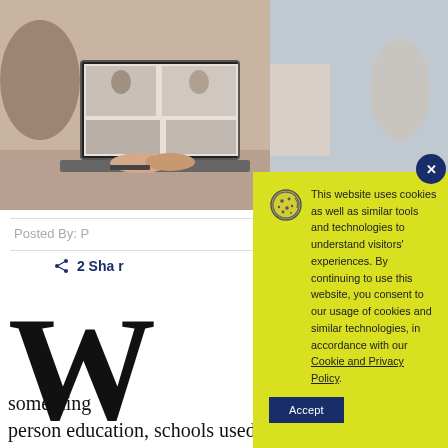[Figure (photo): Person typing on a laptop during a video call, seen from above/side angle. Multiple participants visible on screen.]
Posted By:
2 Shares
W
something ... person education, schools used Zoom or
[Figure (screenshot): Cookie consent banner overlay with yellow background. Contains cookie icon, consent text about cookies and similar technologies, link to Cookie and Privacy Policy, and an Accept button. Has a close (X) button in top right corner.]